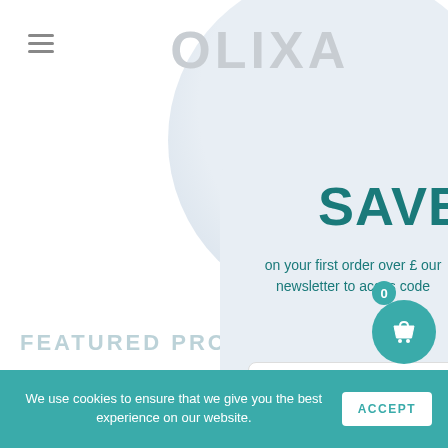[Figure (screenshot): OLIXA e-commerce website screenshot showing navigation header with hamburger menu and logo, a newsletter signup popup with 'SAVE £' heading and email input field, a featured product section, cart button, and cookie consent bar at the bottom.]
OLIXA
SAVE £
on your first order over £ our newsletter to access code
FEATURED PRODUCT
Email
0
We use cookies to ensure that we give you the best experience on our website.
ACCEPT